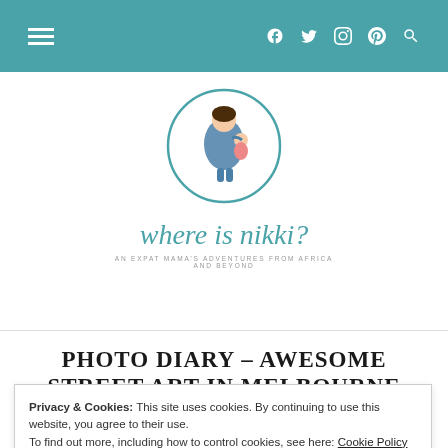Navigation bar with hamburger menu and social icons (Facebook, Twitter, Instagram, Pinterest, Search)
[Figure (logo): Where Is Nikki? blog logo — circular illustration of a woman with a child, handwritten-style text 'where is nikki?' and tagline 'An expat mama's adventures from Africa and beyond']
PHOTO DIARY – AWESOME STREET ART IN MELBOURNE
Privacy & Cookies: This site uses cookies. By continuing to use this website, you agree to their use.
To find out more, including how to control cookies, see here: Cookie Policy
[Close and accept button]
As I mentioned in [teal text] of the things I even allow to [teal text] lives and breathe culture and art. You only